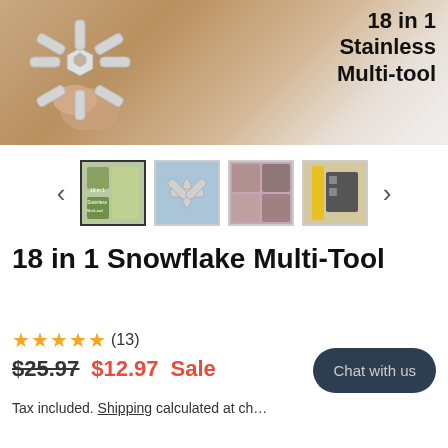[Figure (photo): Hero product image showing a snowflake-shaped stainless steel multi-tool being held by hand, with text overlay reading '18 in 1 Stainless Multi-tool' on the right side]
[Figure (photo): Thumbnail gallery carousel with four product images and left/right navigation arrows. First thumbnail is active/selected.]
18 in 1 Snowflake Multi-Tool
★★★★★ (13)
$25.97  $12.97 Sale
Tax included. Shipping calculated at checkout.